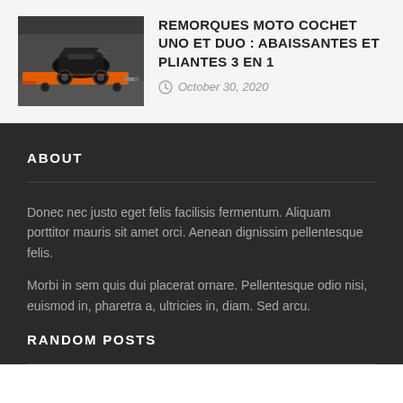[Figure (photo): Motorcycle on a trailer/transport platform, orange and black colored]
REMORQUES MOTO COCHET UNO ET DUO : ABAISSANTES ET PLIANTES 3 EN 1
October 30, 2020
ABOUT
Donec nec justo eget felis facilisis fermentum. Aliquam porttitor mauris sit amet orci. Aenean dignissim pellentesque felis.
Morbi in sem quis dui placerat ornare. Pellentesque odio nisi, euismod in, pharetra a, ultricies in, diam. Sed arcu.
RANDOM POSTS